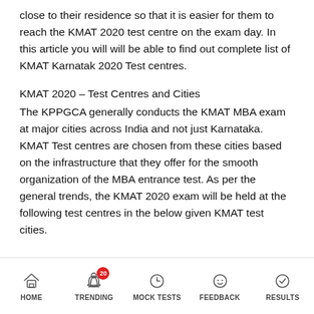close to their residence so that it is easier for them to reach the KMAT 2020 test centre on the exam day. In this article you will will be able to find out complete list of KMAT Karnatak 2020 Test centres.
KMAT 2020 – Test Centres and Cities
The KPPGCA generally conducts the KMAT MBA exam at major cities across India and not just Karnataka. KMAT Test centres are chosen from these cities based on the infrastructure that they offer for the smooth organization of the MBA entrance test. As per the general trends, the KMAT 2020 exam will be held at the following test centres in the below given KMAT test cities.
HOME | TRENDING | MOCK TESTS | FEEDBACK | RESULTS